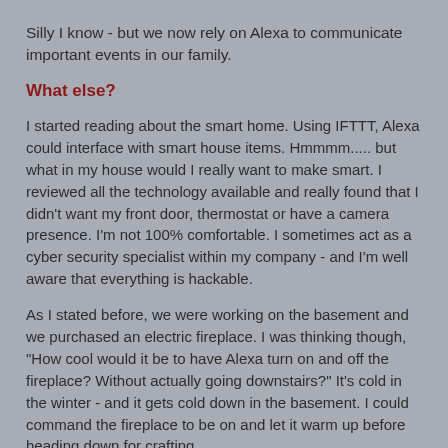Silly I know - but we now rely on Alexa to communicate important events in our family.
What else?
I started reading about the smart home. Using IFTTT, Alexa could interface with smart house items. Hmmmm..... but what in my house would I really want to make smart. I reviewed all the technology available and really found that I didn't want my front door, thermostat or have a camera presence. I'm not 100% comfortable. I sometimes act as a cyber security specialist within my company - and I'm well aware that everything is hackable.
As I stated before, we were working on the basement and we purchased an electric fireplace. I was thinking though, "How cool would it be to have Alexa turn on and off the fireplace? Without actually going downstairs?" It's cold in the winter - and it gets cold down in the basement. I could command the fireplace to be on and let it warm up before heading down for crafting.